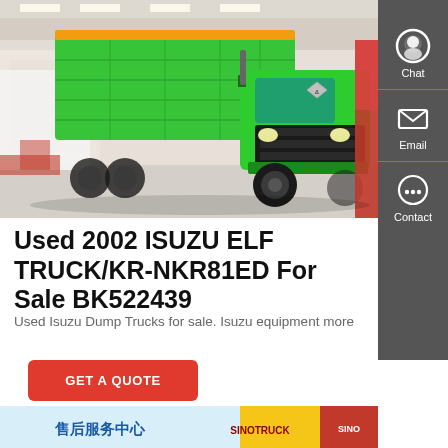[Figure (photo): Photo of a bright green ISUZU dump truck displayed at a trade show, with a red truck visible on the right side and other vehicles in the background. Indoor exhibition hall setting.]
Used 2002 ISUZU ELF TRUCK/KR-NKR81ED For Sale BK522439
Used Isuzu Dump Trucks for sale. Isuzu equipment more
GET A QUOTE
[Figure (photo): Bottom partial image showing a light blue background with Chinese text and a red/gold logo on the right side (SINOTRUK or similar brand).]